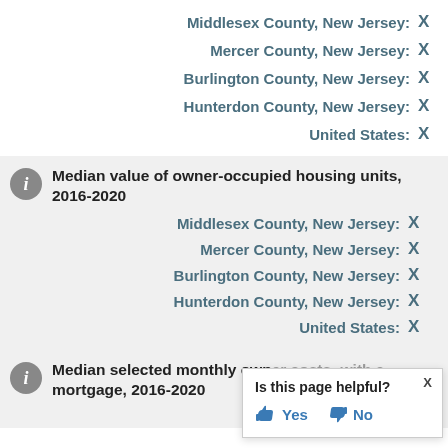Middlesex County, New Jersey: X
Mercer County, New Jersey: X
Burlington County, New Jersey: X
Hunterdon County, New Jersey: X
United States: X
Median value of owner-occupied housing units, 2016-2020
Middlesex County, New Jersey: X
Mercer County, New Jersey: X
Burlington County, New Jersey: X
Hunterdon County, New Jersey: X
United States: X
Median selected monthly owner costs -with a mortgage, 2016-2020
Middlesex Cou...
Is this page helpful? Yes No